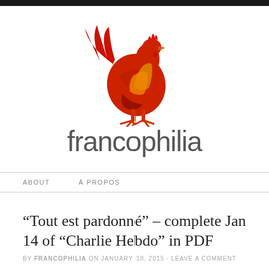[Figure (logo): Francophilia website logo: a red and orange rooster silhouette above the word 'francophilia' in light grey sans-serif text]
ABOUT   À PROPOS
“Tout est pardonné” – complete Jan 14 of “Charlie Hebdo” in PDF
by FRANCOPHILIA on JANUARY 18, 2015 · LEAVE A COMMENT